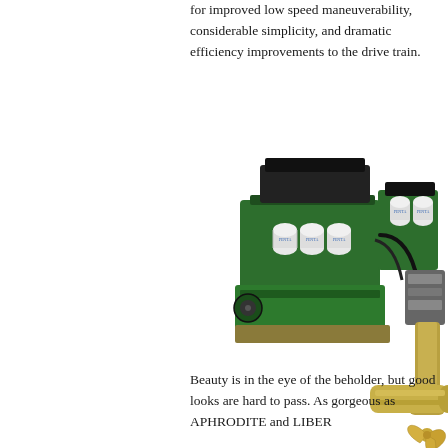for improved low speed maneuverability, considerable simplicity, and dramatic efficiency improvements to the drive train.
[Figure (photo): Marine diesel engine with IPS drive system showing green engine block with white cylindrical filters, black housing, and gold/bronze propeller on a white background]
Beauty is in the eye of the beholder, but good looks are hard to pass. As gorgeous as APHRODITE and LIBER...